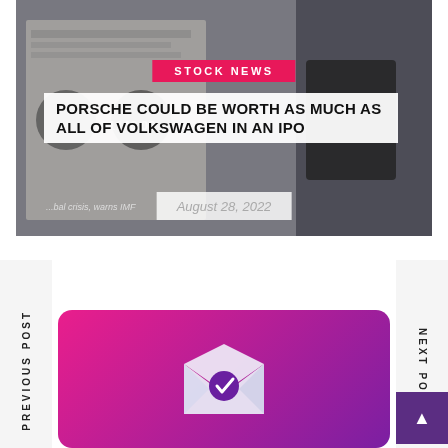[Figure (photo): Newspaper being held by a man in a suit, used as background for a stock news article thumbnail]
STOCK NEWS
PORSCHE COULD BE WORTH AS MUCH AS ALL OF VOLKSWAGEN IN AN IPO
August 28, 2022
PREVIOUS POST
NEXT POST
[Figure (illustration): Gradient pink-to-purple card with an envelope icon containing a purple checkmark circle, representing an email subscription or newsletter confirmation]